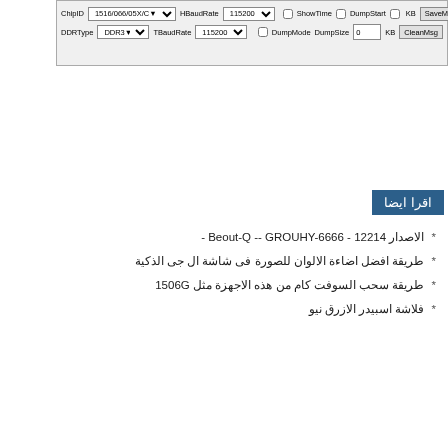[Figure (screenshot): Software UI top panel showing ChipID, HBaudRate, ShowTime, DumpStart options, SaveMsg button, DDRType DDR3, TBaudRate 115200, DumpMode, DumpSize, CleanMsg button, and Start button]
* الاصدار 12214 - Beout-Q -- GROUHY-6666 -
* طريقة افضل اضاءة الالوان للصورة فى شاشة ال جى الذكية
* طريقة سحب السوفت كام من هذه الاجهزة مثل 1506G
* فلاشة اسبيدر الازرق نيو
[Figure (screenshot): STB EROM Upgrade 2.0.1 2009-12-09 - Step 1: Configure dialog with blue icon area on left, Com Setting panel with Port COM1 and Bits Rate 115200 dropdowns]